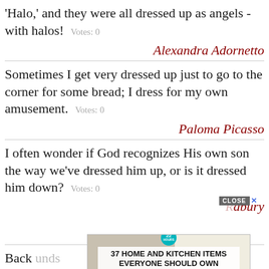'Halo,' and they were all dressed up as angels - with halos!  Votes: 0
Alexandra Adornetto
Sometimes I get very dressed up just to go to the corner for some bread; I dress for my own amusement.  Votes: 0
Paloma Picasso
I often wonder if God recognizes His own son the way we've dressed him up, or is it dressed him down?  Votes: 0
Ray Bradbury
Back ... pounds of gol... dress...
[Figure (screenshot): Advertisement overlay showing '37 HOME AND KITCHEN ITEMS EVERYONE SHOULD OWN' with Mueller branding, a CLOSE button, and a teal circular badge showing '22']